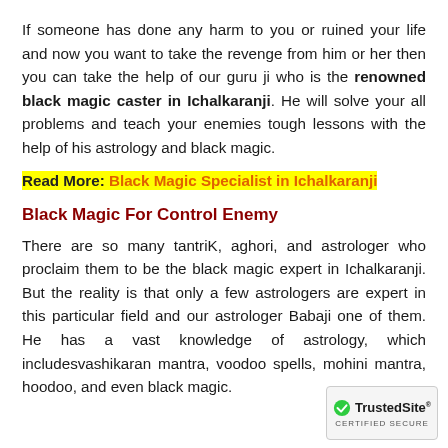If someone has done any harm to you or ruined your life and now you want to take the revenge from him or her then you can take the help of our guru ji who is the renowned black magic caster in Ichalkaranji. He will solve your all problems and teach your enemies tough lessons with the help of his astrology and black magic.
Read More: Black Magic Specialist in Ichalkaranji
Black Magic For Control Enemy
There are so many tantriK, aghori, and astrologer who proclaim them to be the black magic expert in Ichalkaranji. But the reality is that only a few astrologers are expert in this particular field and our astrologer Babaji one of them. He has a vast knowledge of astrology, which includesvashikaran mantra, voodoo spells, mohini mantra, hoodoo, and even black magic.
[Figure (logo): TrustedSite Certified Secure badge]